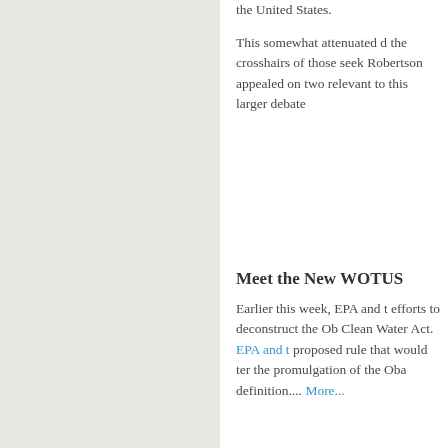the United States.
This somewhat attenuated d... the crosshairs of those seek... Robertson appealed on two ... relevant to this larger debate...
Meet the New WOTUS
Earlier this week, EPA and t... efforts to deconstruct the Ob... Clean Water Act.  EPA and t... proposed rule that would ter... the promulgation of the Oba... definition.... More...